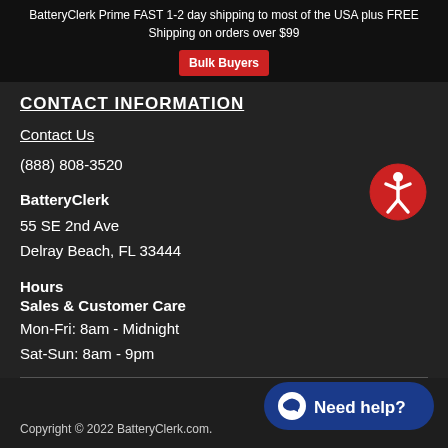BatteryClerk Prime FAST 1-2 day shipping to most of the USA plus FREE Shipping on orders over $99  Bulk Buyers
CONTACT INFORMATION
Contact Us
(888) 808-3520
BatteryClerk
55 SE 2nd Ave
Delray Beach, FL 33444
[Figure (illustration): Red circular accessibility icon with white person figure]
Hours
Sales & Customer Care
Mon-Fri: 8am - Midnight
Sat-Sun: 8am - 9pm
Copyright © 2022 BatteryClerk.com.
[Figure (illustration): Need help? chat button with speech bubble icon on dark blue rounded rectangle]